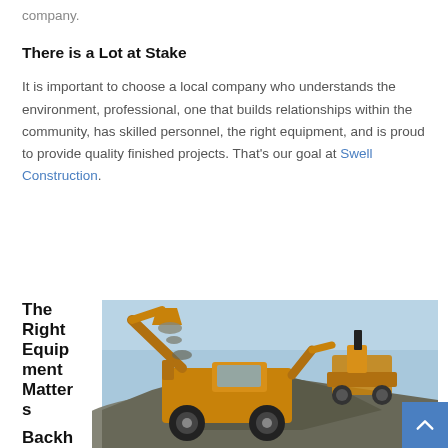company.
There is a Lot at Stake
It is important to choose a local company who understands the environment, professional, one that builds relationships within the community, has skilled personnel, the right equipment, and is proud to provide quality finished projects. That's our goal at Swell Construction.
The Right Equipment Matters
[Figure (photo): A yellow backhoe/construction loader dumping gravel/aggregate material at a construction site, with another piece of construction equipment visible in the background. Blue sky visible above.]
Backh